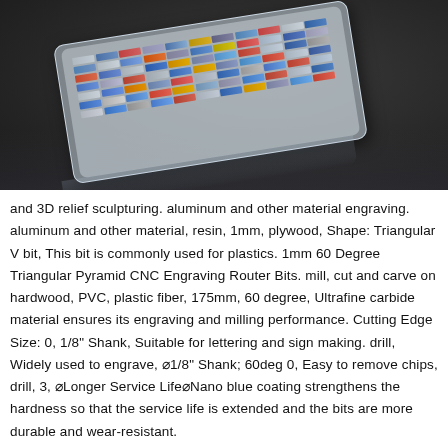[Figure (photo): Photo of a plastic storage case containing multiple colorful CNC engraving router bits/drill bits arranged in rows, photographed on a dark background at an angle.]
and 3D relief sculpturing. aluminum and other material engraving. aluminum and other material, resin, 1mm, plywood, Shape: Triangular V bit, This bit is commonly used for plastics. 1mm 60 Degree Triangular Pyramid CNC Engraving Router Bits. mill, cut and carve on hardwood, PVC, plastic fiber, 175mm, 60 degree, Ultrafine carbide material ensures its engraving and milling performance. Cutting Edge Size: 0, 1/8" Shank, Suitable for lettering and sign making. drill, Widely used to engrave, ⌀1/8" Shank; 60deg 0, Easy to remove chips, drill, 3, ⌀Longer Service Life⌀Nano blue coating strengthens the hardness so that the service life is extended and the bits are more durable and wear-resistant.